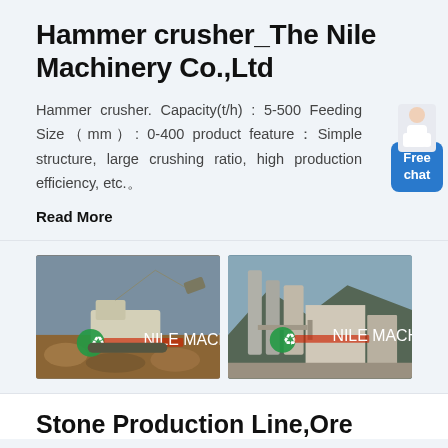Hammer crusher_The Nile Machinery Co.,Ltd
Hammer crusher. Capacity(t/h) : 5-500 Feeding Size（mm）: 0-400 product feature：Simple structure, large crushing ratio, high production efficiency, etc.。
Read More
[Figure (photo): Two photos side by side: left shows an excavator and mobile hammer crusher at a construction/mining site with dirt and rubble; right shows an industrial stone production plant with tall silos and processing equipment against a mountain backdrop. Both images have a green recycling circle logo and red text overlay.]
Stone Production Line,Ore